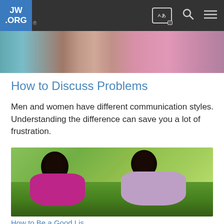JW.ORG
[Figure (photo): Cropped photo strip showing people in background, partially visible at top of page]
How to Discuss Problems
Men and women have different communication styles. Understanding the difference can save you a lot of frustration.
[Figure (photo): A couple, a woman in a pink/magenta top and a man in a light purple shirt, lying on green grass facing each other and talking in a park setting]
How to Be a Good Lis…